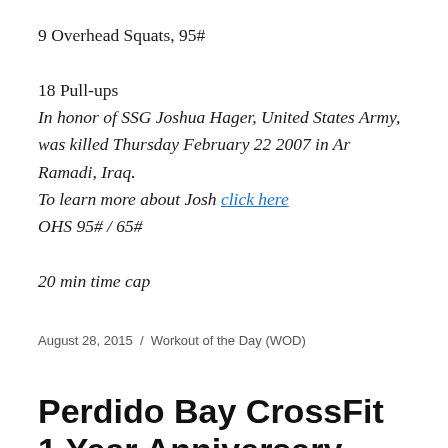9 Overhead Squats, 95#
18 Pull-ups
In honor of SSG Joshua Hager, United States Army, was killed Thursday February 22 2007 in Ar Ramadi, Iraq.
To learn more about Josh click here
OHS 95# / 65#
20 min time cap
August 28, 2015  /  Workout of the Day (WOD)
Perdido Bay CrossFit 1 Year Anniversary